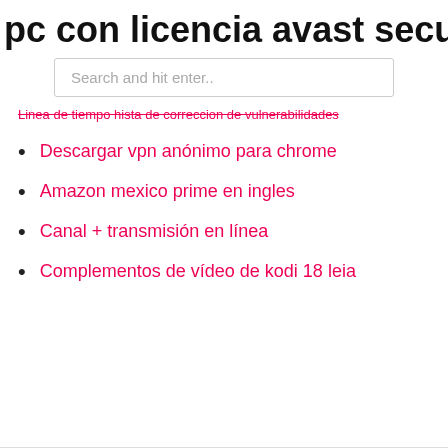pc con licencia avast secureline vpn
Search and hit enter..
Linea de tiempo hista de correccion de vulnerabilidades
Descargar vpn anónimo para chrome
Amazon mexico prime en ingles
Canal + transmisión en línea
Complementos de vídeo de kodi 18 leia